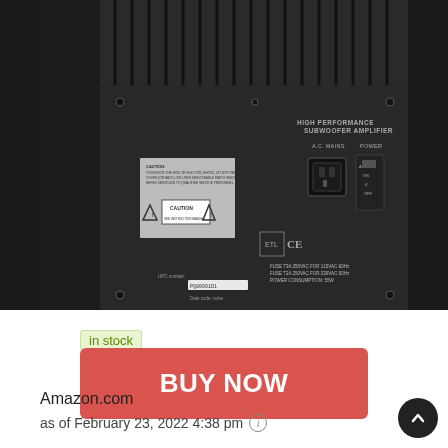[Figure (photo): Back panel of a black subwoofer amplifier unit showing labels: HIGH PERFORMANCE SUBWOOFER AMPLIFIER, A.C. MAINS, POWER, AUTO/ON/4/OFF switch, caution labels, CE and ETL certification marks, fuse and power consumption information, and a serial/date code sticker.]
in stock
BUY NOW
Amazon.com
as of February 23, 2022 4:38 pm